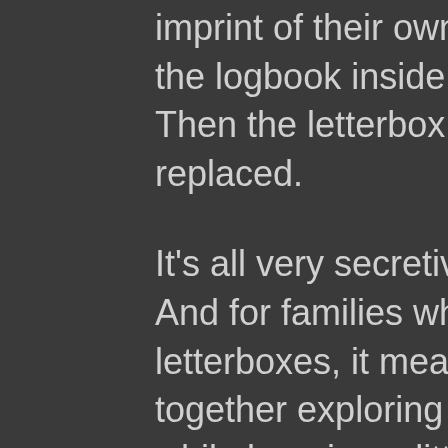imprint of their own unique stamp in the logbook inside the letterbox. Then the letterbox is carefully replaced.
It's all very secretive, daring and fun. And for families who search for letterboxes, it means quality time together exploring the outdoors, while learning a little history, science, geography and mapping.
After a few searches, your family might want to make their own letterbox, find a good place to hide it, and write clues to post online for others to follow.